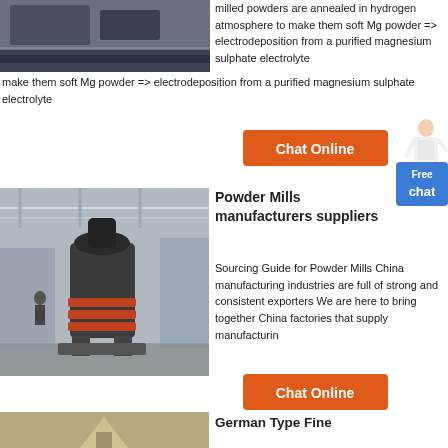[Figure (photo): Industrial machinery/hammer mill equipment in a facility]
milled powders are annealed in hydrogen atmosphere to make them soft Mg powder => electrodeposition from a purified magnesium sulphate electrolyte
[Figure (other): Orange Chat Online button with avatar]
[Figure (other): Blue Free chat button]
[Figure (photo): Large industrial powder mill machine in a factory/warehouse setting]
Powder Mills manufacturers suppliers
Sourcing Guide for Powder Mills China manufacturing industries are full of strong and consistent exporters We are here to bring together China factories that supply manufacturin
[Figure (other): Orange Chat Online button]
German Type Fine